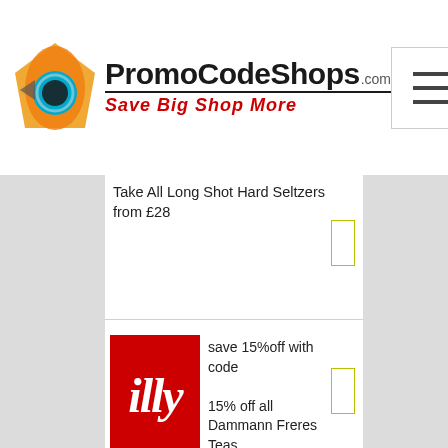[Figure (logo): PromoCodeShops.com logo with icon and tagline 'Save Big Shop More']
Take All Long Shot Hard Seltzers from £28
[Figure (logo): illy coffee brand logo - red square with white italic script]
save 15%off with code
15% off all Dammann Freres Teas
[Figure (logo): Silver Cuisine by bistro MD logo]
Limited Time Only! Extra 15% Off Orders $99+
Limited Time